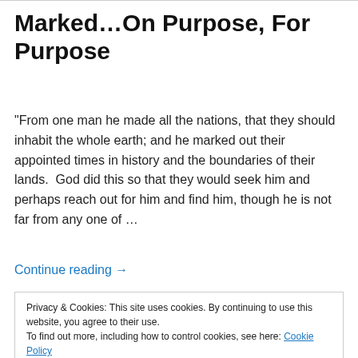Marked…On Purpose, For Purpose
"From one man he made all the nations, that they should inhabit the whole earth; and he marked out their appointed times in history and the boundaries of their lands.  God did this so that they would seek him and perhaps reach out for him and find him, though he is not far from any one of …
Continue reading →
Privacy & Cookies: This site uses cookies. By continuing to use this website, you agree to their use.
To find out more, including how to control cookies, see here: Cookie Policy
Close and accept